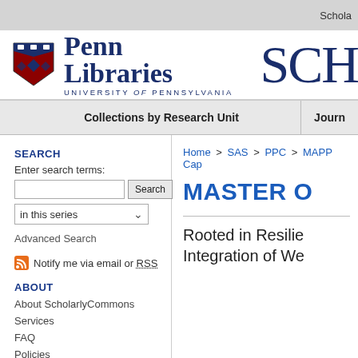Schola
[Figure (logo): Penn Libraries University of Pennsylvania logo with shield and SCHO (ScholarlyCommons) text]
Collections by Research Unit | Journ
SEARCH
Enter search terms:
in this series
Advanced Search
Notify me via email or RSS
ABOUT
About ScholarlyCommons
Services
FAQ
Policies
Home > SAS > PPC > MAPP Cap
MASTER O
Rooted in Resilie
Integration of We